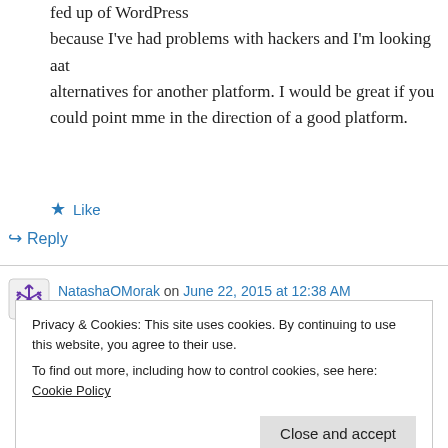fed up of WordPress because I've had problems with hackers and I'm looking aat alternatives for another platform. I would be great if you could point mme in the direction of a good platform.
★ Like
↪ Reply
NatashaOMorak on June 22, 2015 at 12:38 AM
Privacy & Cookies: This site uses cookies. By continuing to use this website, you agree to their use.
To find out more, including how to control cookies, see here: Cookie Policy
Close and accept
★ Like